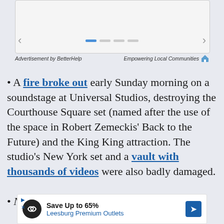[Figure (screenshot): Slideshow widget with navigation arrows and pagination dots]
Advertisement by BetterHelp    Empowering Local Communities
A fire broke out early Sunday morning on a soundstage at Universal Studios, destroying the Courthouse Square set (named after the use of the space in Robert Zemeckis' Back to the Future) and the King King attraction. The studio's New York set and a vault with thousands of videos were also badly damaged.
New York Times magazine had a lengthy
[Figure (screenshot): Advertisement banner: Save Up to 65% Leesburg Premium Outlets]